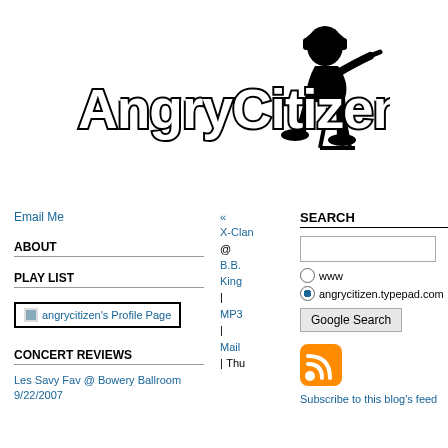[Figure (logo): AngryC itizen blog logo with stylized bold text 'AngryCitizen' and silhouette of a person sitting with headphones]
Email Me
ABOUT
PLAY LIST
[Figure (screenshot): angrycitizen's Profile Page button/badge with small image icon]
CONCERT REVIEWS
Les Savy Fav @ Bowery Ballroom
9/22/2007
«
X-Clan
@
B.B.
King
|
MP3
|
Mail
|
Thu
SEARCH
www
angrycitizen.typepad.com
Google Search
[Figure (illustration): Orange RSS feed icon]
Subscribe to this blog's feed